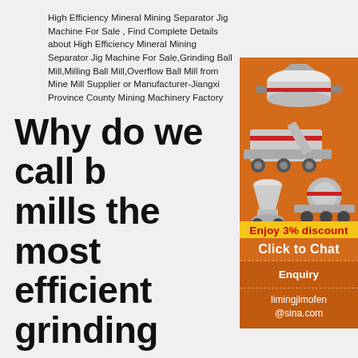High Efficiency Mineral Mining Separator Jig Machine For Sale , Find Complete Details about High Efficiency Mineral Mining Separator Jig Machine For Sale,Grinding Ball Mill,Milling Ball Mill,Overflow Ball Mill from Mine Mill Supplier or Manufacturer-Jiangxi Province County Mining Machinery Factory
Why do we call b mills the most efficient grinding
[Figure (photo): Sidebar advertisement showing mining machinery (crushers, mills) on orange background with discount and chat options]
As is known by us, the ball mill has a wide applications among so many mining machines highest working efficiency. But what reasons h good reputation of the ball mills? Here our ex tell you the secret of the ...
Limestone Mill -